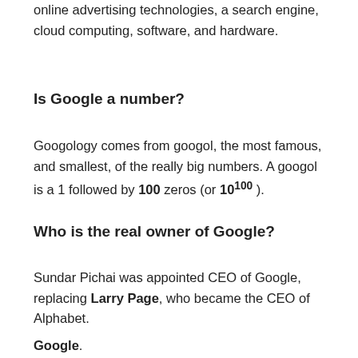online advertising technologies, a search engine, cloud computing, software, and hardware.
Is Google a number?
Googology comes from googol, the most famous, and smallest, of the really big numbers. A googol is a 1 followed by 100 zeros (or 10^100 ).
Who is the real owner of Google?
Sundar Pichai was appointed CEO of Google, replacing Larry Page, who became the CEO of Alphabet.
Google.